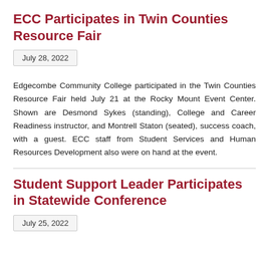ECC Participates in Twin Counties Resource Fair
July 28, 2022
Edgecombe Community College participated in the Twin Counties Resource Fair held July 21 at the Rocky Mount Event Center. Shown are Desmond Sykes (standing), College and Career Readiness instructor, and Montrell Staton (seated), success coach, with a guest. ECC staff from Student Services and Human Resources Development also were on hand at the event.
Student Support Leader Participates in Statewide Conference
July 25, 2022